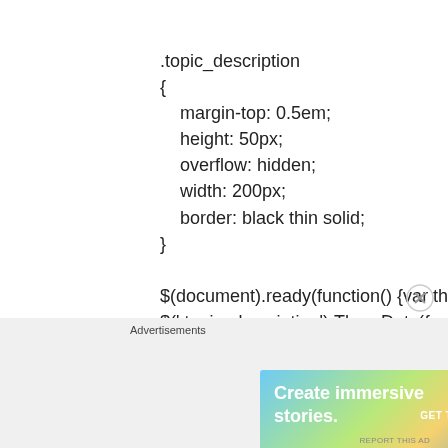.topic_description
{
    margin-top: 0.5em;
    height: 50px;
    overflow: hidden;
    width: 200px;
    border: black thin solid;
}

$(document).ready(function() {var the_obj =
$('.topic_description').ThreeDots({max_rows:
1});});
Advertisements
[Figure (other): WordPress advertisement banner: 'Create immersive stories. GET THE APP' with WordPress logo]